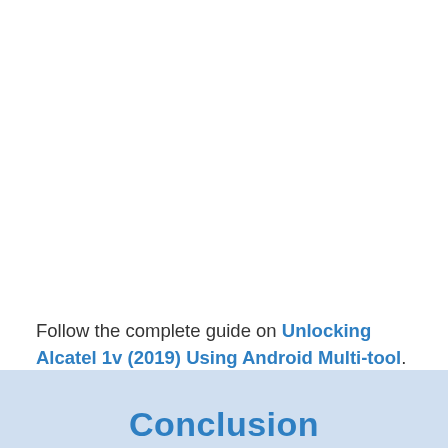Follow the complete guide on Unlocking Alcatel 1v (2019) Using Android Multi-tool.
Conclusion